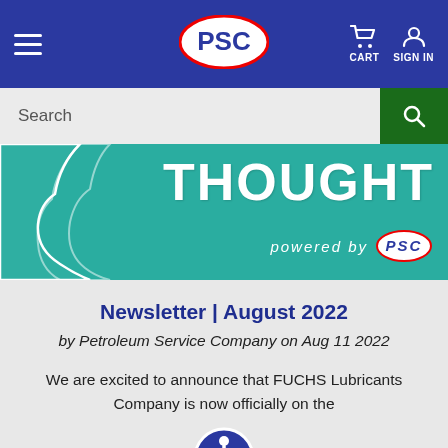PSC — CART  SIGN IN
Search
[Figure (screenshot): Teal banner with large white text 'THOUGHT' and 'powered by PSC' with PSC logo badge]
Newsletter | August 2022
by Petroleum Service Company on Aug 11 2022
We are excited to announce that FUCHS Lubricants Company is now officially on the